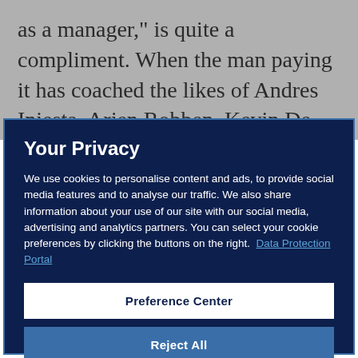as a manager," is quite a compliment. When the man paying it has coached the likes of Andres Iniesta, Arjen Robben, Kevin De Bruyne and the one and only Lionel
Your Privacy
We use cookies to personalise content and ads, to provide social media features and to analyse our traffic. We also share information about your use of our site with our social media, advertising and analytics partners. You can select your cookie preferences by clicking the buttons on the right.  Data Protection Portal
Preference Center
Reject All
I'm OK with that